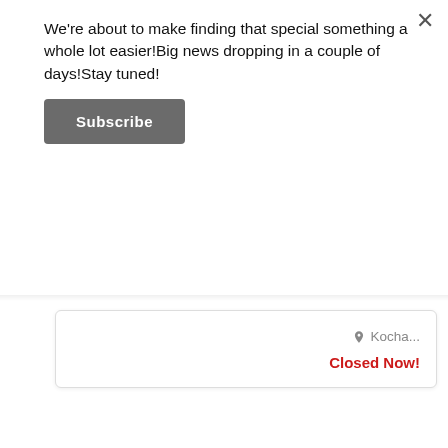We're about to make finding that special something a whole lot easier!Big news dropping in a couple of days!Stay tuned!
Subscribe
Kocha...
Closed Now!
[Figure (infographic): Red banner with white text reading 'looking for something special?' and partial text 'needl.net' at bottom]